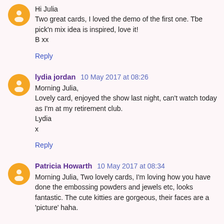Hi Julia
Two great cards, I loved the demo of the first one. Tbe pick'n mix idea is inspired, love it!
B xx
Reply
lydia jordan 10 May 2017 at 08:26
Morning Julia,
Lovely card, enjoyed the show last night, can't watch today as I'm at my retirement club.
Lydia
x
Reply
Patricia Howarth 10 May 2017 at 08:34
Morning Julia, Two lovely cards, I'm loving how you have done the embossing powders and jewels etc, looks fantastic. The cute kitties are gorgeous, their faces are a 'picture' haha.